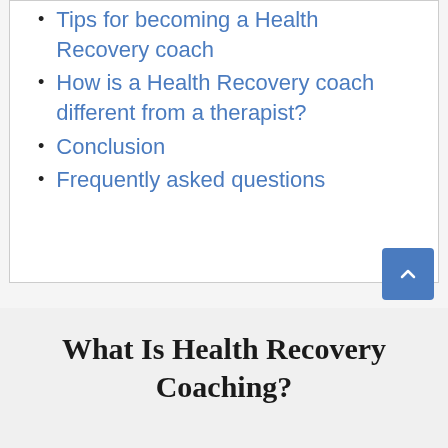Tips for becoming a Health Recovery coach
How is a Health Recovery coach different from a therapist?
Conclusion
Frequently asked questions
What Is Health Recovery Coaching?